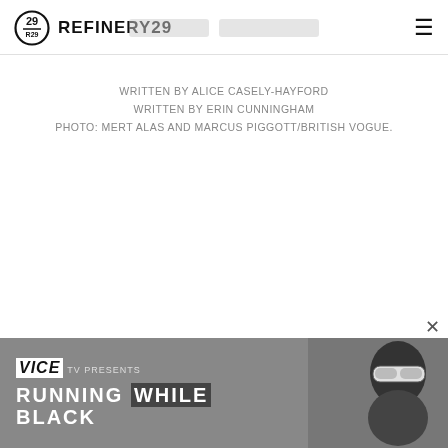REFINERY29
WRITTEN BY ALICE CASELY-HAYFORD
WRITTEN BY ERIN CUNNINGHAM
PHOTO: MERT ALAS AND MARCUS PIGGOTT/BRITISH VOGUE.
[Figure (screenshot): VICE TV advertisement banner showing 'RUNNING WHILE BLACK' with a person wearing ski goggles on the right side]